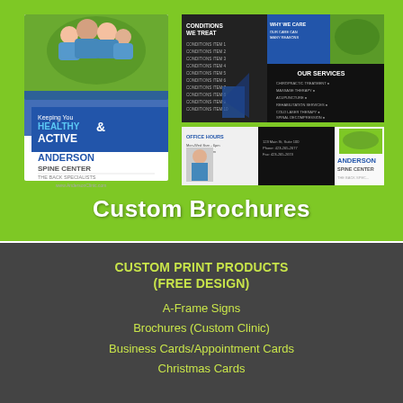[Figure (illustration): Green background section showing custom brochure samples for Anderson Spine Center — a trifold brochure with 'Keeping You Healthy & Active' and 'Anderson Spine Center / The Back Specialists' along with inner panels showing conditions, services, and office hours. White bold text 'Custom Brochures' below the brochure images.]
Custom Brochures
CUSTOM PRINT PRODUCTS (FREE DESIGN)
A-Frame Signs
Brochures (Custom Clinic)
Business Cards/Appointment Cards
Christmas Cards